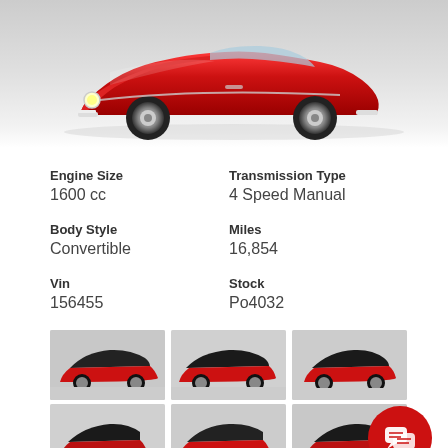[Figure (photo): Front view of a red classic Porsche 356 convertible sports car on a light grey/white background]
Engine Size
1600 cc
Transmission Type
4 Speed Manual
Body Style
Convertible
Miles
16,854
Vin
156455
Stock
Po4032
[Figure (photo): Thumbnail: red classic Porsche 356 with black soft top, side/front view]
[Figure (photo): Thumbnail: red classic Porsche 356 with black soft top, three-quarter front view]
[Figure (photo): Thumbnail: red classic Porsche 356 with black soft top, three-quarter rear view]
[Figure (photo): Thumbnail: red classic Porsche 356, rear view]
[Figure (photo): Thumbnail: red classic Porsche 356, front three-quarter view]
[Figure (photo): Thumbnail: red classic Porsche 356, side view]